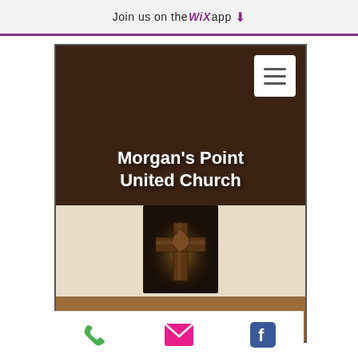Join us on the WiX app
Morgan's Point United Church
[Figure (illustration): A wooden cross with a dove/heart emblem, glowing amber light, on dark background]
[Figure (infographic): Mobile app screenshot showing Morgan's Point United Church website with hamburger menu, church title, cross logo, and bottom navigation icons (phone, email, Facebook)]